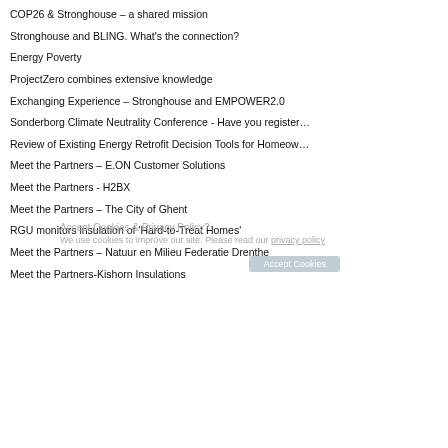COP26 & Stronghouse – a shared mission
Stronghouse and BLING. What's the connection?
Energy Poverty
ProjectZero combines extensive knowledge
Exchanging Experience – Stronghouse and EMPOWER2.0
Sonderborg Climate Neutrality Conference - Have you register…
Review of Existing Energy Retrofit Decision Tools for Homeow…
Meet the Partners – E.ON Customer Solutions
Meet the Partners - H2BX
Meet the Partners – The City of Ghent
RGU monitors insulation of 'Hard-to-Treat Homes'
Meet the Partners – Natuur en Milieu Federatie Drenthe
Meet the Partners-Kishorn Insulations